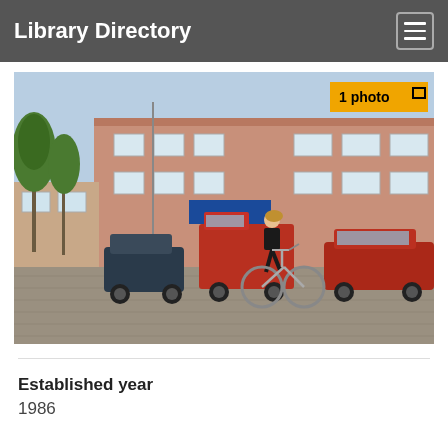Library Directory
[Figure (photo): Exterior photo of a library building with a salmon/pink facade. A woman is riding a bicycle in the foreground on a cobblestone parking area. Several cars are parked in front including a red van. Trees are visible on the left. A sign reading 'bibliotek' is on the building. Badge overlay reads '1 photo'.]
Established year
1986